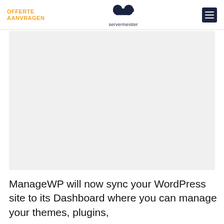OFFERTE AANVRAGEN | servermeister
[Figure (screenshot): Large light gray placeholder image area below the header navigation, representing a screenshot or embedded content area with a pale gray background.]
ManageWP will now sync your WordPress site to its Dashboard where you can manage your themes, plugins,